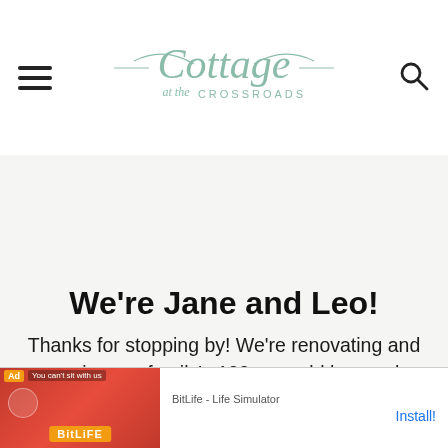[Figure (logo): Cottage at the Crossroads script logo in sage green, with hamburger menu icon on left and search icon on right]
[Figure (other): Partial decorative image showing cursive text 'we are' and a stylized letter in sage green on white background]
We're Jane and Leo!
Thanks for stopping by! We're renovating and preserving our family's 100 year old home place where we garden, complete a few DIY projects, and do some cooking. Please leave us a comment so that we'll know that you were here
[Figure (screenshot): Advertisement banner: BitLife - Life Simulator ad with red background game imagery on left and Install! button text on right]